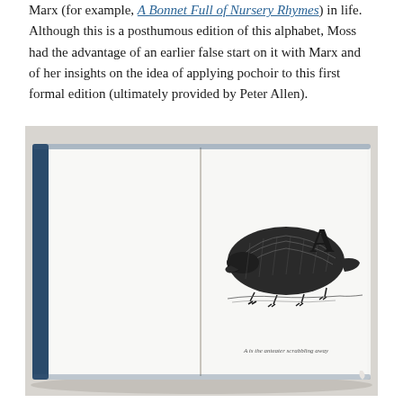Marx (for example, A Bonnet Full of Nursery Rhymes) in life. Although this is a posthumous edition of this alphabet, Moss had the advantage of an earlier false start on it with Marx and of her insights on the idea of applying pochoir to this first formal edition (ultimately provided by Peter Allen).
[Figure (photo): Open hardcover book photographed from above on a light surface. The left page is blank white. The right page shows a detailed black-and-white engraving of an armadillo-like animal (possibly an anteater or badger) with the letter 'A' in large serif type to its right, and a small italic caption below reading 'A is the anteater scrabbling away'. The book has a dark blue spine.]